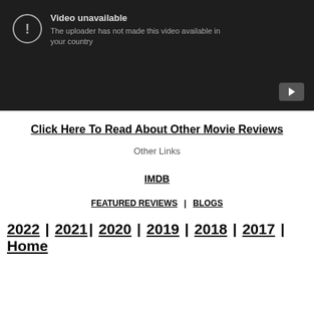[Figure (screenshot): YouTube video unavailable error screen showing a dark background with a warning icon and text: 'Video unavailable - The uploader has not made this video available in your country']
Click Here To Read About Other Movie Reviews
Other Links
IMDB
FEATURED REVIEWS | BLOGS
2022 | 2021| 2020 | 2019 | 2018 | 2017 | Home